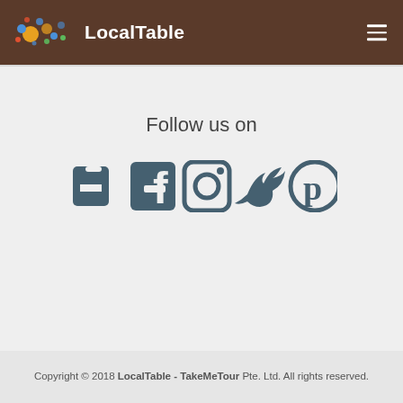LocalTable
Follow us on
[Figure (infographic): Social media icons: Facebook, Instagram, Twitter, Pinterest]
Copyright © 2018 LocalTable - TakeMeTour Pte. Ltd. All rights reserved.